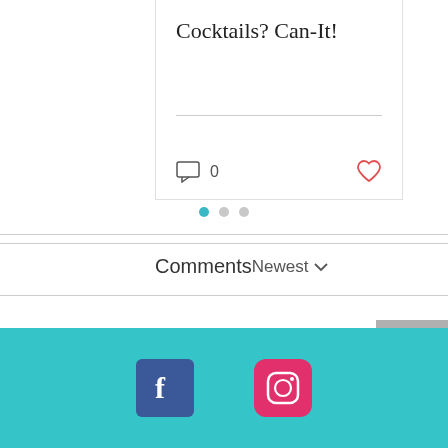Cocktails? Can-It!
0
[Figure (infographic): Pagination dots: one teal active dot and two grey inactive dots]
Comments
Newest
Loading...
[Figure (infographic): Back to top arrow button (grey square with upward chevron)]
[Figure (infographic): Footer with teal background containing Facebook and Instagram social media icons]